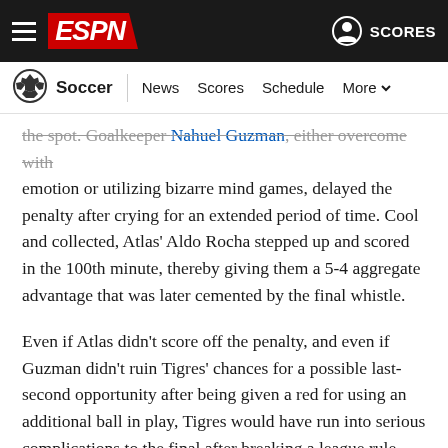ESPN - Soccer | News  Scores  Schedule  More
the spot. Goalkeeper Nahuel Guzman, either overcome with emotion or utilizing bizarre mind games, delayed the penalty after crying for an extended period of time. Cool and collected, Atlas' Aldo Rocha stepped up and scored in the 100th minute, thereby giving them a 5-4 aggregate advantage that was later cemented by the final whistle.
Even if Atlas didn't score off the penalty, and even if Guzman didn't ruin Tigres' chances for a possible last-second opportunity after being given a red for using an additional ball in play, Tigres would have run into serious complications to the final after breaking a league rule. When Thauvin stepped onto the field after halftime, Tigres had nine foreign players in their XI, surpassing the maximum of eight allowed on the pitch at the same time.